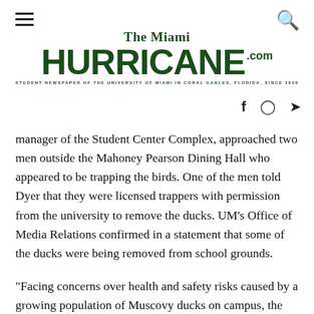The Miami HURRICANE.com — STUDENT NEWSPAPER OF THE UNIVERSITY OF MIAMI IN CORAL GABLES, FLORIDA, SINCE 1929
manager of the Student Center Complex, approached two men outside the Mahoney Pearson Dining Hall who appeared to be trapping the birds. One of the men told Dyer that they were licensed trappers with permission from the university to remove the ducks. UM's Office of Media Relations confirmed in a statement that some of the ducks were being removed from school grounds.
"Facing concerns over health and safety risks caused by a growing population of Muscovy ducks on campus, the university took the appropriate steps to humanely remove 14